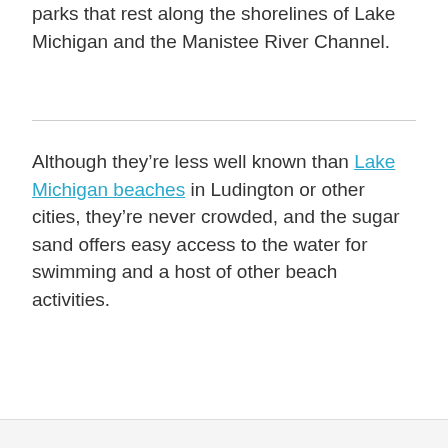parks that rest along the shorelines of Lake Michigan and the Manistee River Channel.
Although they're less well known than Lake Michigan beaches in Ludington or other cities, they're never crowded, and the sugar sand offers easy access to the water for swimming and a host of other beach activities.